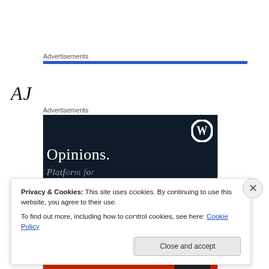Advertisements
AJ
Advertisements
[Figure (screenshot): WordPress advertisement banner with dark navy background showing WordPress logo (W in circle) at top right and text 'Opinions.' in large white serif font, with partially visible subtext below.]
Privacy & Cookies: This site uses cookies. By continuing to use this website, you agree to their use.
To find out more, including how to control cookies, see here: Cookie Policy